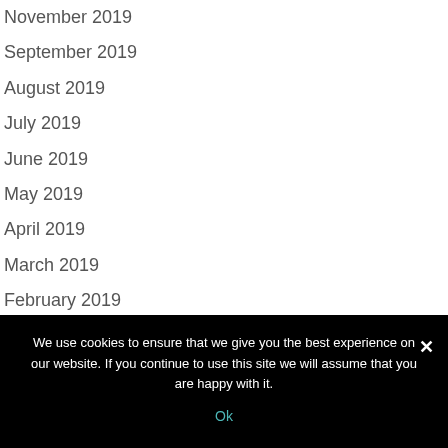November 2019
September 2019
August 2019
July 2019
June 2019
May 2019
April 2019
March 2019
February 2019
January 2019
December 2018
We use cookies to ensure that we give you the best experience on our website. If you continue to use this site we will assume that you are happy with it.
Ok